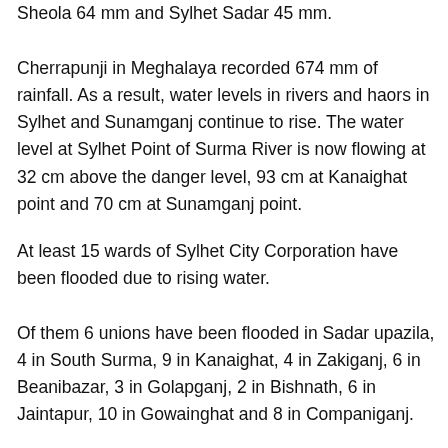Sheola 64 mm and Sylhet Sadar 45 mm.
Cherrapunji in Meghalaya recorded 674 mm of rainfall. As a result, water levels in rivers and haors in Sylhet and Sunamganj continue to rise. The water level at Sylhet Point of Surma River is now flowing at 32 cm above the danger level, 93 cm at Kanaighat point and 70 cm at Sunamganj point.
At least 15 wards of Sylhet City Corporation have been flooded due to rising water.
Of them 6 unions have been flooded in Sadar upazila, 4 in South Surma, 9 in Kanaighat, 4 in Zakiganj, 6 in Beanibazar, 3 in Golapganj, 2 in Bishnath, 6 in Jaintapur, 10 in Gowainghat and 8 in Companiganj.
Apart from Sunamganj municipality, Sadar upazila, Tahirpur, Bishwambharpur, Chhatak and Doarabazar upazilas have